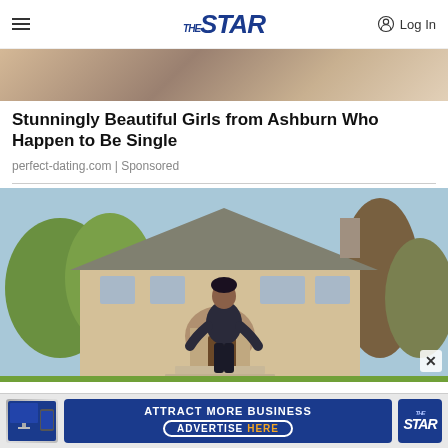THE STAR — Log In
[Figure (photo): Close-up partial image of a person's face/hair at the top, cropped]
Stunningly Beautiful Girls from Ashburn Who Happen to Be Single
perfect-dating.com | Sponsored
[Figure (photo): Woman in dark sleeveless dress standing in front of a large suburban house with trees and green landscaping]
[Figure (screenshot): Bottom advertisement banner: 'ATTRACT MORE BUSINESS — ADVERTISE HERE' with The Star logo and device images]